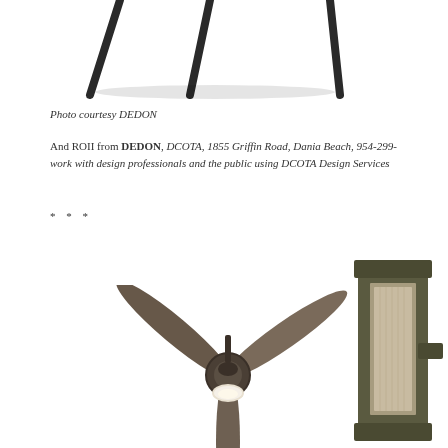[Figure (photo): Partial view of furniture legs (dark/black legs of a table or chair) against white background, cropped at top]
Photo courtesy DEDON
And ROII from DEDON, DCOTA, 1855 Griffin Road, Dania Beach, 954-299-... work with design professionals and the public using DCOTA Design Services...
* * *
[Figure (photo): Ceiling fan with three blades in dark bronze/oil-rubbed bronze finish with light kit, shown against white background]
[Figure (photo): Modern outdoor wall sconce/light fixture in dark bronze/olive finish with elongated rectangular form, partially cropped on right edge]